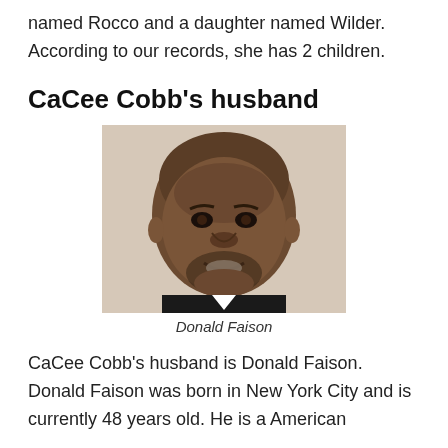named Rocco and a daughter named Wilder. According to our records, she has 2 children.
CaCee Cobb's husband
[Figure (photo): Headshot photo of Donald Faison, a man with a shaved head and short beard, smiling, wearing a dark suit.]
Donald Faison
CaCee Cobb's husband is Donald Faison. Donald Faison was born in New York City and is currently 48 years old. He is a American